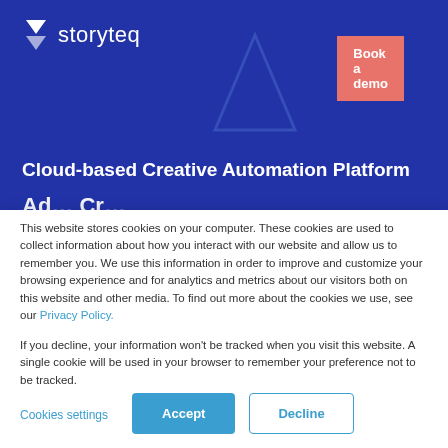[Figure (logo): Storyteq logo with white arrow/lightning bolt icon and white wordmark 'storyteq' on dark blue background]
Book a demo
Cloud-based Creative Automation Platform
This website stores cookies on your computer. These cookies are used to collect information about how you interact with our website and allow us to remember you. We use this information in order to improve and customize your browsing experience and for analytics and metrics about our visitors both on this website and other media. To find out more about the cookies we use, see our Privacy Policy.
If you decline, your information won't be tracked when you visit this website. A single cookie will be used in your browser to remember your preference not to be tracked.
Cookies settings
Accept
Decline